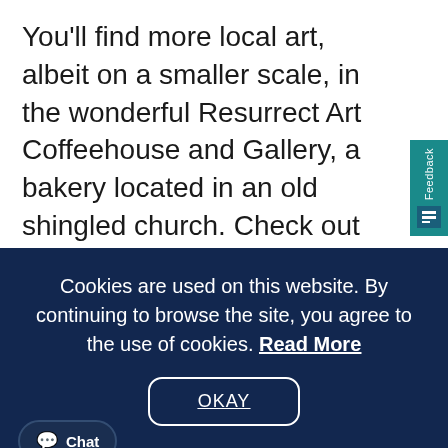You'll find more local art, albeit on a smaller scale, in the wonderful Resurrect Art Coffeehouse and Gallery, a bakery located in an old shingled church. Check out the Seward Brewing Company, too, for local craft beers and a building steeped in history, having served over the decades as a bar, theater, and the offices of the Alaska Steamship Company
Cookies are used on this website. By continuing to browse the site, you agree to the use of cookies. Read More
OKAY
Chat